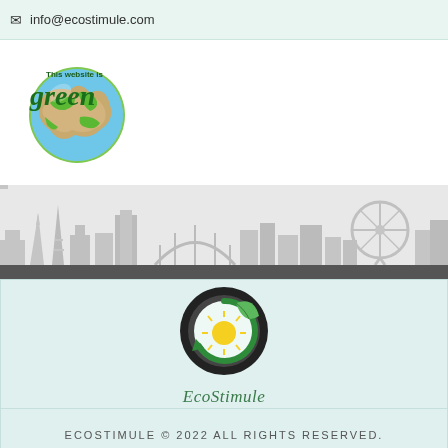info@ecostimule.com
[Figure (logo): Green globe logo with text 'This website is green']
[Figure (illustration): City skyline silhouette in grey]
[Figure (logo): EcoStimule circular logo with sun and leaf]
ECOSTIMULE © 2022 ALL RIGHTS RESERVED.
[Figure (infographic): Social media share buttons: Facebook, LinkedIn, Twitter, Pinterest, Reddit, Mix, WhatsApp, More]